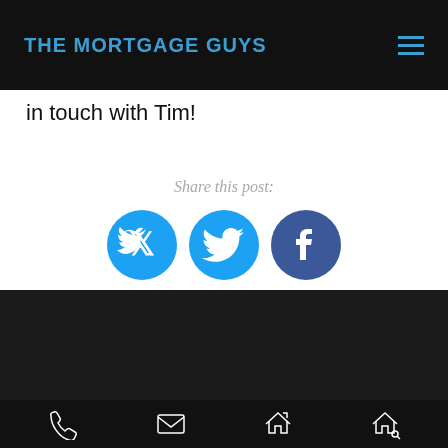THE MORTGAGE GUYS
in touch with Tim!
Share this post:
[Figure (other): Twitter and Facebook social media share icons]
Abel Tejeda
NMLS - 259168
DRE - 02109711
The Mortgage Guy
[Figure (other): Footer icons: phone, email, home, search]